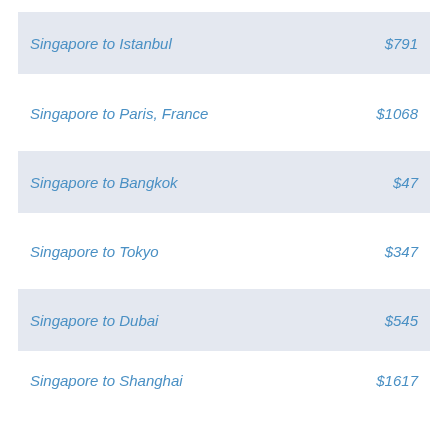Singapore to Istanbul   $791
Singapore to Paris, France   $1068
Singapore to Bangkok   $47
Singapore to Tokyo   $347
Singapore to Dubai   $545
Singapore to Shanghai   $1617
Singapore to Beirut   $812
Singapore to Cairo, Egypt   $1540